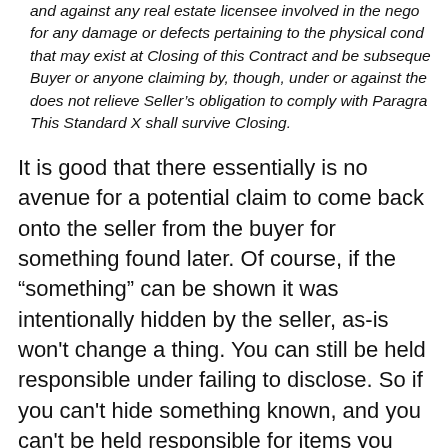and against any real estate licensee involved in the nego for any damage or defects pertaining to the physical cond that may exist at Closing of this Contract and be subseque Buyer or anyone claiming by, though, under or against the does not relieve Seller's obligation to comply with Paragra This Standard X shall survive Closing.
It is good that there essentially is no avenue for a potential claim to come back onto the seller from the buyer for something found later. Of course, if the "something" can be shown it was intentionally hidden by the seller, as-is won't change a thing. You can still be held responsible under failing to disclose. So if you can't hide something known, and you can't be held responsible for items you don't know about, you should be in the clear.
If you intentionally fail to disclose something you